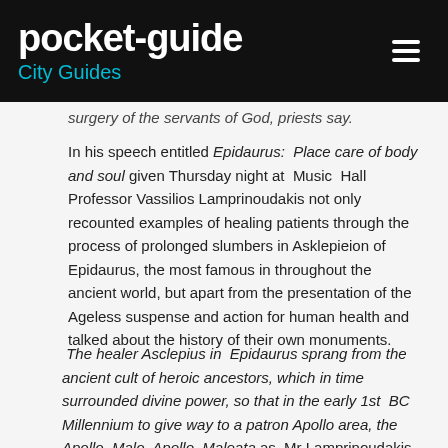pocket-guide City Guides
surgery of the servants of God, priests say.
In his speech entitled Epidaurus: Place care of body and soul given Thursday night at Music Hall Professor Vassilios Lamprinoudakis not only recounted examples of healing patients through the process of prolonged slumbers in Asklepieion of Epidaurus, the most famous in throughout the ancient world, but apart from the presentation of the Ageless suspense and action for human health and talked about the history of their own monuments.
The healer Asclepius in Epidaurus sprang from the ancient cult of heroic ancestors, which in time surrounded divine power, so that in the early 1st BC Millennium to give way to a patron Apollo area, the Apollo Malo, Apollo Maleata as Mr Lamprinoudakis starting the story from the beginning. The findings even _diploi axes, swords, stone rhyta, devotional ie vases in the shape of a funnel for libations, seals, numerous figurines and alla_ show that the importance of worship? Greatly exceeded local boundaries. The ashes of the altar also